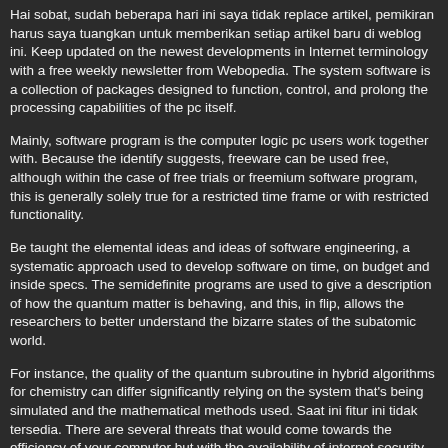Hai sobat, sudah beberapa hari ini saya tidak replace artikel, pemikiran harus saya tuangkan untuk memberikan setiap artikel baru di weblog ini. Keep updated on the newest developments in Internet terminology with a free weekly newsletter from Webopedia. The system software is a collection of packages designed to function, control, and prolong the processing capabilities of the pc itself.
Mainly, software program is the computer logic pc users work together with. Because the identify suggests, freeware can be used free, although within the case of free trials or freemium software program, this is generally solely true for a restricted time frame or with restricted functionality.
Be taught the elemental ideas and ideas of software engineering, a systematic approach used to develop software on time, on budget and inside specs. The semidefinite programs are used to give a description of how the quantum matter is behaving, and this, in flip, allows the researchers to better understand the bizarre states of the subatomic world.
For instance, the quality of the quantum subroutine in hybrid algorithms for chemistry can differ significantly relying on the system that's being simulated and the mathematical methods used. Saat ini fitur ini tidak tersedia. There are several threats that would come towards the efficiency of your computer but with the availability of internet security and malware safety, you don't have anything to worry about.